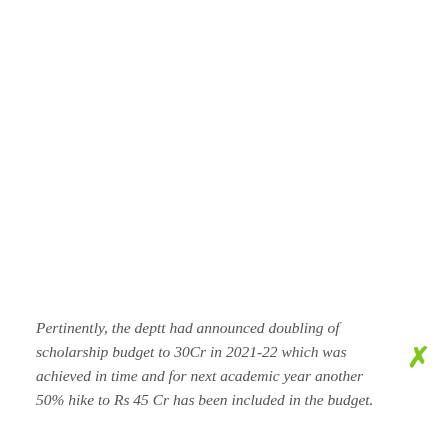Pertinently, the deptt had announced doubling of scholarship budget to 30Cr in 2021-22 which was achieved in time and for next academic year another 50% hike to Rs 45 Cr has been included in the budget.